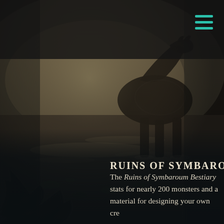[Figure (photo): A dark atmospheric fantasy scene showing a large creature or figure silhouetted against a misty wetland/swamp landscape with lily pads and murky water. The scene is moody and dark with soft light reflecting off the water surface.]
RUINS OF SYMBAROUM - BE
The Ruins of Symbaroum Bestiary stats for nearly 200 monsters and a material for designing your own cre